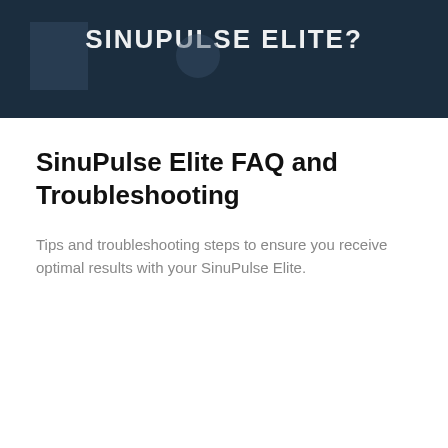[Figure (screenshot): Dark navy banner image with the text 'SINUPULSE ELITE?' displayed in large white uppercase letters, with a partially visible product image on the left side.]
SinuPulse Elite FAQ and Troubleshooting
Tips and troubleshooting steps to ensure you receive optimal results with your SinuPulse Elite.